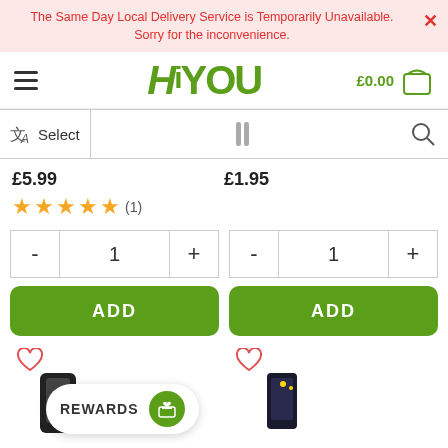The Same Day Local Delivery Service is Temporarily Unavailable. Sorry for the inconvenience.
[Figure (logo): HiYOU green logo with hamburger menu and shopping cart showing £0.00]
[Figure (screenshot): Search/navigation bar with language select icon, barcode scanner icon, and search icon]
£5.99
£1.95
[Figure (other): 4.5 star rating with (1) review count]
[Figure (infographic): Quantity selector showing minus, 1, plus buttons and ADD button for first product]
[Figure (infographic): Quantity selector showing minus, 1, plus buttons and ADD button for second product]
[Figure (screenshot): REWARDS button with gift icon, heart icons on product cards, and product images at bottom]